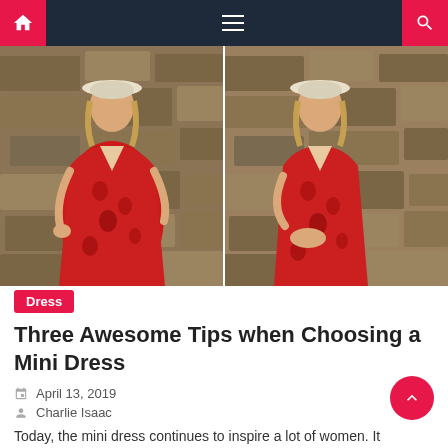Navigation bar with home, menu, and search icons
[Figure (photo): Two side-by-side photos of a woman wearing a red floral mini dress and white hat, posed in front of a stone wall background]
Dress
Three Awesome Tips when Choosing a Mini Dress
April 13, 2019
Charlie Isaac
Today, the mini dress continues to inspire a lot of women. It